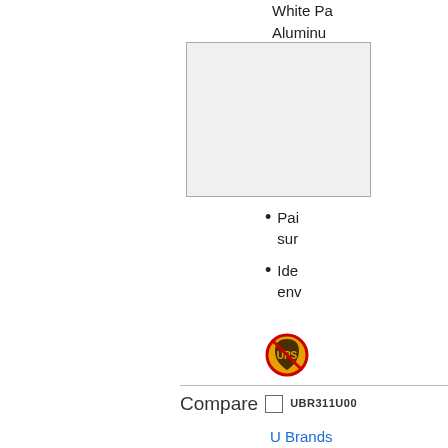White Pa... Aluminum... Horizont...
[Figure (photo): Product image: rectangular whiteboard shown from front, light gray background, dark border]
Pai... sur...
Ide... env...
[Figure (illustration): UPS no-ship circular icon (red circle with slash over UPS shield logo)]
Compare  UBR311U00...
U Brands... Inches, B...
23" (1.9... White Pa... Medium... Rectang...
[Figure (photo): Second product image: rectangular whiteboard shown from front, light gray background, dark thick border]
Pai...